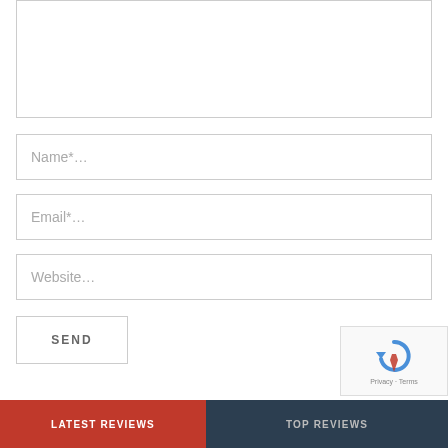[Figure (screenshot): Web comment form with textarea, name, email, website input fields, a SEND button, and a reCAPTCHA widget in the bottom right. Footer bar with LATEST REVIEWS and TOP REVIEWS tabs.]